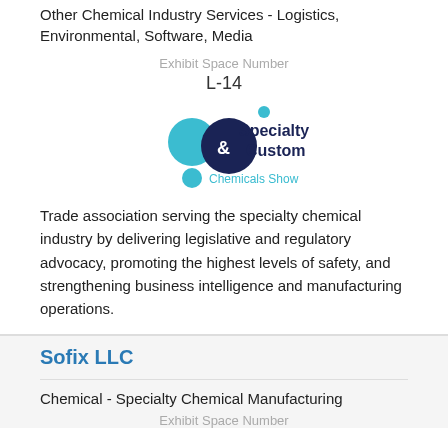Other Chemical Industry Services - Logistics, Environmental, Software, Media
Exhibit Space Number
L-14
[Figure (logo): Specialty & Custom Chemicals Show logo with teal and dark navy blue circles and text]
Trade association serving the specialty chemical industry by delivering legislative and regulatory advocacy, promoting the highest levels of safety, and strengthening business intelligence and manufacturing operations.
Sofix LLC
Chemical - Specialty Chemical Manufacturing
Exhibit Space Number